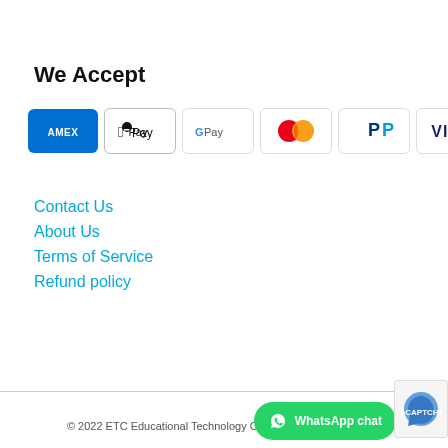We Accept
[Figure (logo): Payment method icons: American Express (AMEX), Apple Pay, Google Pay, Mastercard, PayPal, Visa]
Contact Us
About Us
Terms of Service
Refund policy
© 2022 ETC Educational Technology Conne...
[Figure (other): WhatsApp chat button (green button with WhatsApp icon)]